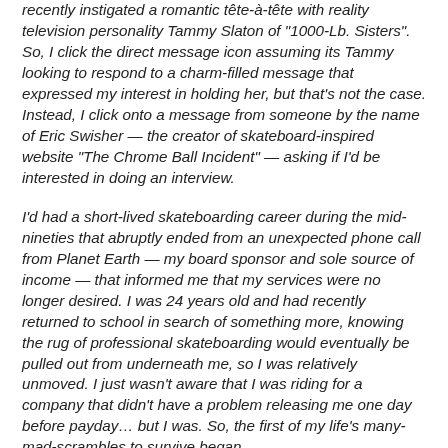recently instigated a romantic tête-à-tête with reality television personality Tammy Slaton of "1000-Lb. Sisters". So, I click the direct message icon assuming its Tammy looking to respond to a charm-filled message that expressed my interest in holding her, but that's not the case. Instead, I click onto a message from someone by the name of Eric Swisher — the creator of skateboard-inspired website "The Chrome Ball Incident" — asking if I'd be interested in doing an interview.
I'd had a short-lived skateboarding career during the mid-nineties that abruptly ended from an unexpected phone call from Planet Earth — my board sponsor and sole source of income — that informed me that my services were no longer desired. I was 24 years old and had recently returned to school in search of something more, knowing the rug of professional skateboarding would eventually be pulled out from underneath me, so I was relatively unmoved. I just wasn't aware that I was riding for a company that didn't have a problem releasing me one day before payday… but I was. So, the first of my life's many-mad-scrambles to survive began.
I put on a pair of slacks, an ironed shirt and a Windsor-knotted tie before grabbing a few copies of my resume, a resume that was nearly nude because I couldn't figure out